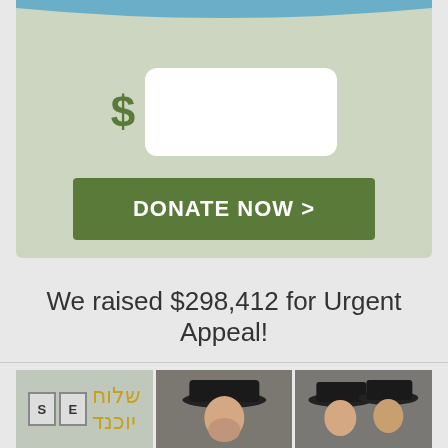[Figure (infographic): Donation widget with blue arc at top, sage green background, dollar sign with white input box, and a dark green DONATE NOW button]
We raised $298,412 for Urgent Appeal!
[Figure (photo): Strip of three photos: left photo shows letter tiles S and E with Hebrew gold text, center photo shows a man in a black fedora hat, right photo shows two men in black hats]